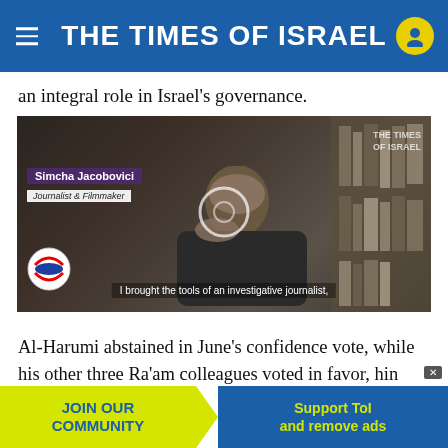THE TIMES OF ISRAEL
an integral role in Israel’s governance.
[Figure (screenshot): Video player screenshot showing Simcha Jacobovici, Journalist & Filmmaker, speaking. Subtitle reads: 'I brought the tools of an investigative journalist,' with The Times of Israel watermark in top right.]
Al-Harumi abstained in June’s confidence vote, while his other three Ra’am colleagues voted in favor,hin major